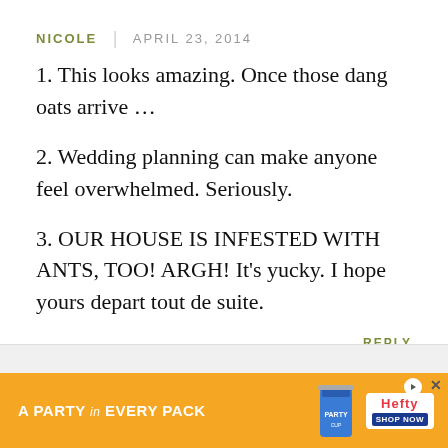NICOLE | APRIL 23, 2014
1. This looks amazing. Once those dang oats arrive …
2. Wedding planning can make anyone feel overwhelmed. Seriously.
3. OUR HOUSE IS INFESTED WITH ANTS, TOO! ARGH! It's yucky. I hope yours depart tout de suite.
REPLY
[Figure (photo): Advertisement banner: Hefty party cups ad with orange background reading 'A PARTY in EVERY PACK', showing a Hefty cup and Hefty logo with Shop Now button and a close X button.]